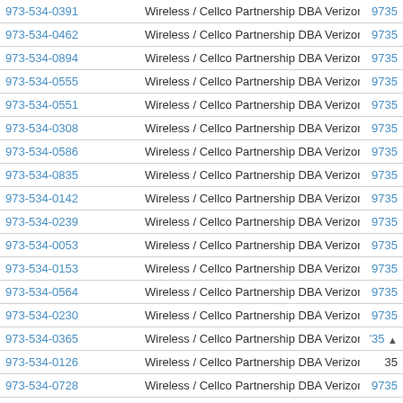| Phone | Carrier | Code |
| --- | --- | --- |
| 973-534-0391 | Wireless / Cellco Partnership DBA Verizon Wireless | 9735 |
| 973-534-0462 | Wireless / Cellco Partnership DBA Verizon Wireless | 9735 |
| 973-534-0894 | Wireless / Cellco Partnership DBA Verizon Wireless | 9735 |
| 973-534-0555 | Wireless / Cellco Partnership DBA Verizon Wireless | 9735 |
| 973-534-0551 | Wireless / Cellco Partnership DBA Verizon Wireless | 9735 |
| 973-534-0308 | Wireless / Cellco Partnership DBA Verizon Wireless | 9735 |
| 973-534-0586 | Wireless / Cellco Partnership DBA Verizon Wireless | 9735 |
| 973-534-0835 | Wireless / Cellco Partnership DBA Verizon Wireless | 9735 |
| 973-534-0142 | Wireless / Cellco Partnership DBA Verizon Wireless | 9735 |
| 973-534-0239 | Wireless / Cellco Partnership DBA Verizon Wireless | 9735 |
| 973-534-0053 | Wireless / Cellco Partnership DBA Verizon Wireless | 9735 |
| 973-534-0153 | Wireless / Cellco Partnership DBA Verizon Wireless | 9735 |
| 973-534-0564 | Wireless / Cellco Partnership DBA Verizon Wireless | 9735 |
| 973-534-0230 | Wireless / Cellco Partnership DBA Verizon Wireless | 9735 |
| 973-534-0365 | Wireless / Cellco Partnership DBA Verizon Wireless | '35 |
| 973-534-0126 | Wireless / Cellco Partnership DBA Verizon Wireless | 35 |
| 973-534-0728 | Wireless / Cellco Partnership DBA Verizon Wireless | 9735 |
| 973-534-0159 | Wireless / Cellco Partnership DBA Verizon Wireless | 9735 |